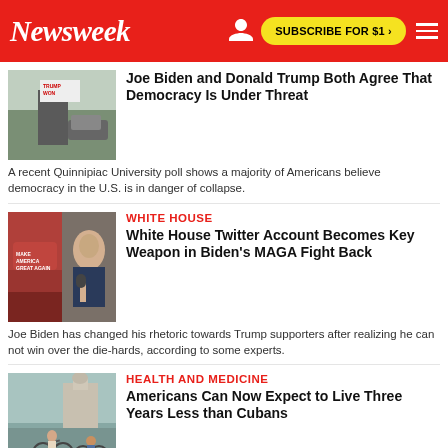Newsweek | SUBSCRIBE FOR $1 >
[Figure (photo): Photo of person holding Trump Won sign at a rally]
Joe Biden and Donald Trump Both Agree That Democracy Is Under Threat
A recent Quinnipiac University poll shows a majority of Americans believe democracy in the U.S. is in danger of collapse.
WHITE HOUSE
[Figure (photo): Composite photo with red MAGA hat and Biden speaking]
White House Twitter Account Becomes Key Weapon in Biden's MAGA Fight Back
Joe Biden has changed his rhetoric towards Trump supporters after realizing he can not win over the die-hards, according to some experts.
HEALTH AND MEDICINE
[Figure (photo): Photo of people on bicycles in Cuba with a capitol building in background]
Americans Can Now Expect to Live Three Years Less than Cubans
The drop in U.S. life expectancy has put the country only a few years above the world average, while in 1960, it was 17 years ahead.